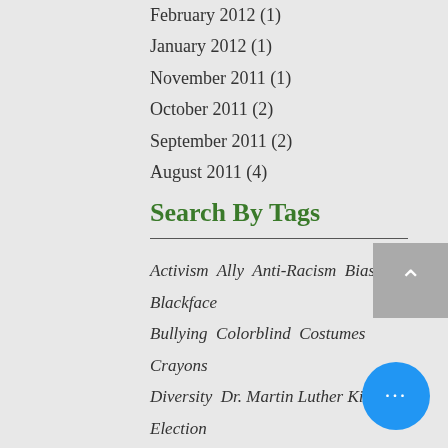February 2012 (1)
January 2012 (1)
November 2011 (1)
October 2011 (2)
September 2011 (2)
August 2011 (4)
Search By Tags
Activism  Ally  Anti-Racism  Bias  Blackface  Bullying  Colorblind  Costumes  Crayons  Diversity  Dr. Martin Luther King Jr.  Election  Engaged  Experience discomfort  Facilitation  Foundations  Gender and Sexual Orientation  Halloween  Honoring Native Land  Hot Buttons  Identity  Indigenous  Institutional Racism  Internalized Superiority  Invalidation  Ju…